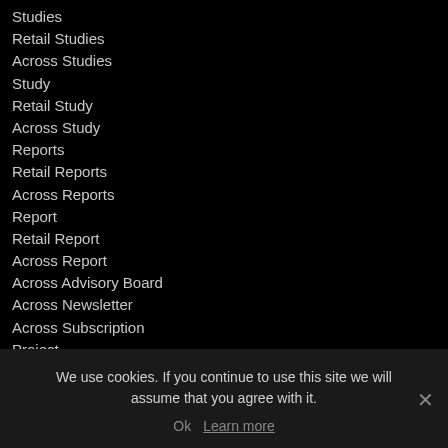Studies
Retail Studies
Across Studies
Study
Retail Study
Across Study
Reports
Retail Reports
Across Reports
Report
Retail Report
Across Report
Across Advisory Board
Across Newsletter
Across Subscription
Project
Retail Project
Projects
Retail Projects
Openings
Retail Openings
Foc
We use cookies. If you continue to use this site we will assume that you agree with it.
Ok   Learn more